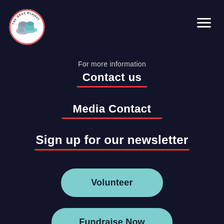[Figure (logo): The Shoe Project circular logo with shoes image and text around the border]
[Figure (other): Hamburger menu icon (three horizontal lines) in top right corner]
For more information
Contact us
Media Contact
Sign up for our newsletter
Volunteer
Fundraise Now